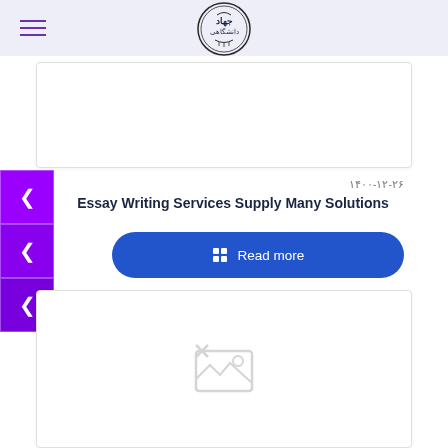Navigation bar with hamburger menu and Jihad logo
[Figure (illustration): White content card placeholder at top]
۱۴۰۰-۱۲-۲۶
Essay Writing Services Supply Many Solutions
Read more
[Figure (illustration): White content card with broken image placeholder icon]